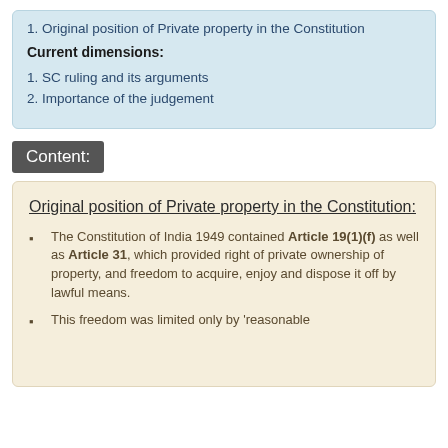1. Original position of Private property in the Constitution
Current dimensions:
1. SC ruling and its arguments
2. Importance of the judgement
Content:
Original position of Private property in the Constitution:
The Constitution of India 1949 contained Article 19(1)(f) as well as Article 31, which provided right of private ownership of property, and freedom to acquire, enjoy and dispose it off by lawful means.
This freedom was limited only by 'reasonable